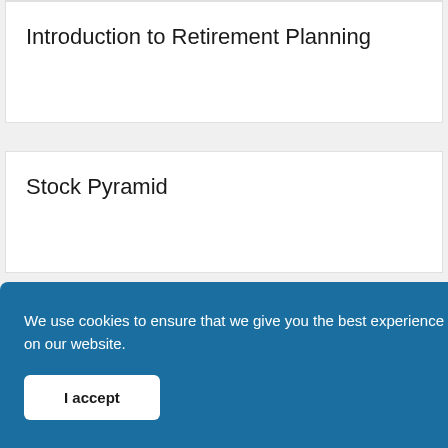Introduction to Retirement Planning
Stock Pyramid
We use cookies to ensure that we give you the best experience on our website.
I accept